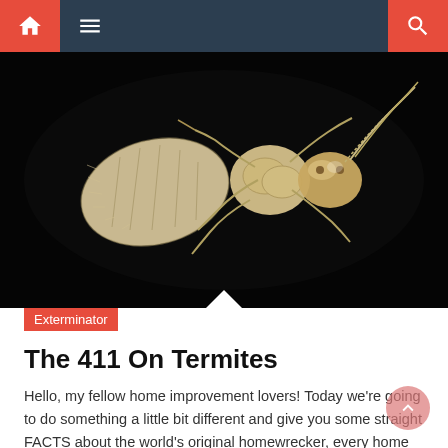Navigation bar with home, menu, and search icons
[Figure (photo): Close-up macro photograph of a termite on a black background, showing the insect's pale yellowish-white body, six legs, antennae, and segmented abdomen from a top-down view.]
Exterminator
The 411 On Termites
Hello, my fellow home improvement lovers! Today we're going to do something a little bit different and give you some straight FACTS about the world's original homewrecker, every home owner's worst nightmare – the termite! These little creepy crawlies come from